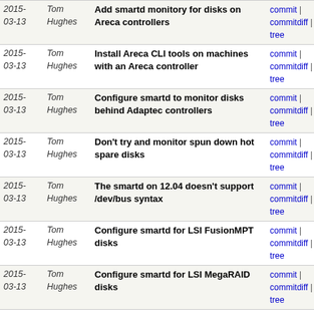| Date | Author | Message | Links |
| --- | --- | --- | --- |
| 2015-03-13 | Tom Hughes | Add smartd monitory for disks on Areca controllers | commit | commitdiff | tree |
| 2015-03-13 | Tom Hughes | Install Areca CLI tools on machines with an Areca controller | commit | commitdiff | tree |
| 2015-03-13 | Tom Hughes | Configure smartd to monitor disks behind Adaptec controllers | commit | commitdiff | tree |
| 2015-03-13 | Tom Hughes | Don't try and monitor spun down hot spare disks | commit | commitdiff | tree |
| 2015-03-13 | Tom Hughes | The smartd on 12.04 doesn't support /dev/bus syntax | commit | commitdiff | tree |
| 2015-03-13 | Tom Hughes | Configure smartd for LSI FusionMPT disks | commit | commitdiff | tree |
| 2015-03-13 | Tom Hughes | Configure smartd for LSI MegaRAID disks | commit | commitdiff | tree |
| 2015-03-13 | Tom Hughes | Don't try and SMART monitor a non-HP disk behind an... | commit | commitdiff | tree |
| 2015-03-12 | Tom Hughes | Enable smartd for directly connected disks and HP arrays | commit | commitdiff | tree |
| 2015-03-11 | Tom Hughes | Use the right PreStart URL for the https virtual server | commit | commitdiff | tree |
| 2015-03-10 | Tom Hughes | Use passenger 4 on production servers | commit | commitdiff | tree |
| 2015-03-10 | Tom Hughes | Use passenger-config to restart rails | commit | commitdiff | tree |
| 2015-03-09 | Tom Hughes | Revert "Switch to emergency frontend only setup" | commit | commitdiff | tree |